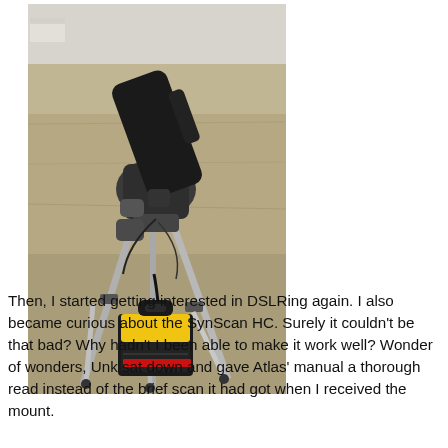[Figure (photo): A photograph of a telescope on a tripod set up outdoors in a grassy field, with a yellow and black portable power pack sitting on the ground between the tripod legs.]
Then, I started getting interested in DSLRing again. I also became curious about the SynScan HC. Surely it couldn't be that bad? Why hadn't I been able to make it work well? Wonder of wonders, Unk sat down and gave Atlas' manual a thorough read instead of the brief scan it had got when I received the mount.